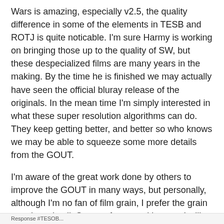Wars is amazing, especially v2.5, the quality difference in some of the elements in TESB and ROTJ is quite noticable. I'm sure Harmy is working on bringing those up to the quality of SW, but these despecialized films are many years in the making. By the time he is finished we may actually have seen the official bluray release of the originals. In the mean time I'm simply interested in what these super resolution algorithms can do. They keep getting better, and better so who knows we may be able to squeeze some more details from the GOUT.
I'm aware of the great work done by others to improve the GOUT in many ways, but personally, although I'm no fan of film grain, I prefer the grain over less detail. So out of personal interest I will continue to check out these algorithms, and anyone who's interested can follow my progress...
Response #TESOB...